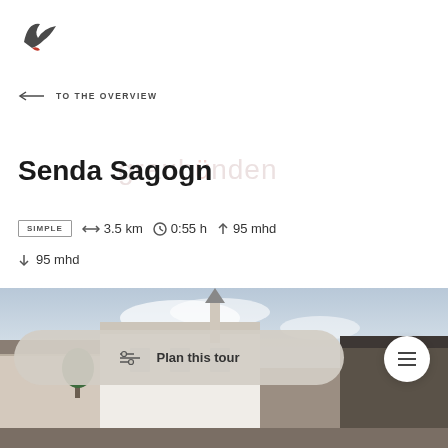[Figure (logo): Graubünden tourism logo mark — stylized bird/wing shape in dark grey with red accent]
← TO THE OVERVIEW
Senda Sagogn
SIMPLE  ↔ 3.5 km  ⊙ 0:55 h  ↑ 95 mhd
↓  95 mhd
[Figure (photo): Street-level photo of a Swiss Alpine village with white buildings, church steeple, and cloudy blue sky]
Plan this tour